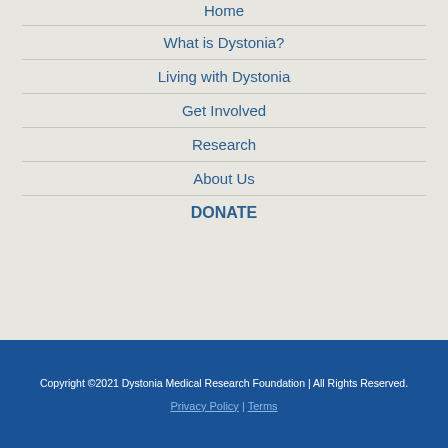Home
What is Dystonia?
Living with Dystonia
Get Involved
Research
About Us
DONATE
Copyright ©2021 Dystonia Medical Research Foundation | All Rights Reserved.
Privacy Policy | Terms